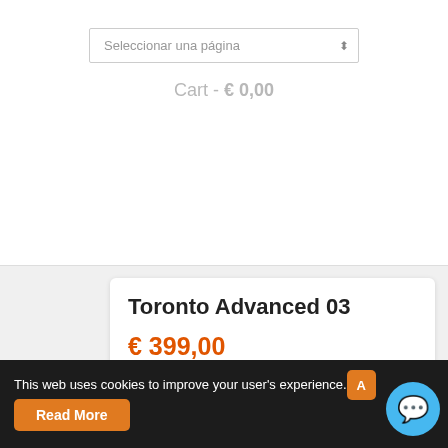Seleccionar una página
Cart - € 0,00
Toronto Advanced 03
€ 399,00
[Figure (screenshot): Empty white product card placeholder]
This web uses cookies to improve your user's experience.
Read More